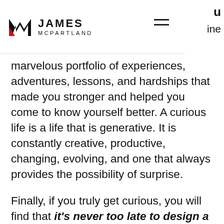JAMES MCPARTLAND
marvelous portfolio of experiences, adventures, lessons, and hardships that made you stronger and helped you come to know yourself better. A curious life is a life that is generative. It is constantly creative, productive, changing, evolving, and one that always provides the possibility of surprise.
Finally, if you truly get curious, you will find that it's never too late to design a life that you love. The kind of life that makes the world a whole lot better for your effort, and for your willingness to maintain a